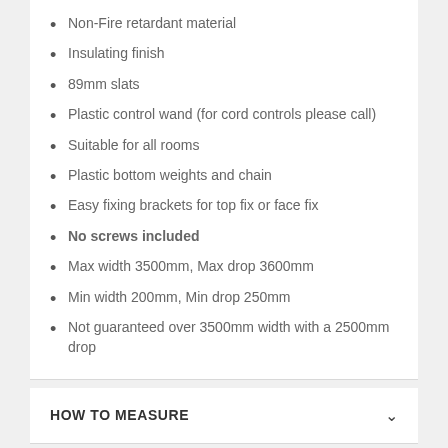Non-Fire retardant material
Insulating finish
89mm slats
Plastic control wand (for cord controls please call)
Suitable for all rooms
Plastic bottom weights and chain
Easy fixing brackets for top fix or face fix
No screws included
Max width 3500mm, Max drop 3600mm
Min width 200mm, Min drop 250mm
Not guaranteed over 3500mm width with a 2500mm drop
HOW TO MEASURE
FITTING GUIDE
CHILD SAFETY